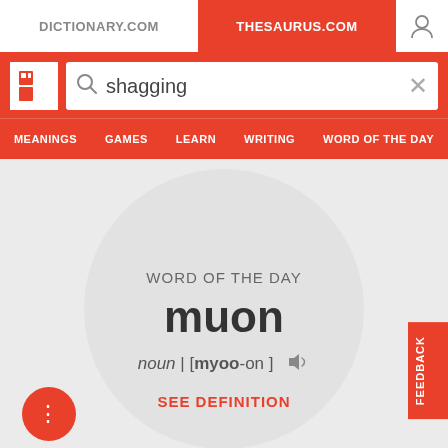DICTIONARY.COM | THESAURUS.COM
[Figure (screenshot): Search bar with Thesaurus.com logo and search query 'shagging']
MEANINGS   GAMES   LEARN   WRITING   WORD OF THE DAY
WORD OF THE DAY
muon
noun | [myoo-on]
SEE DEFINITION